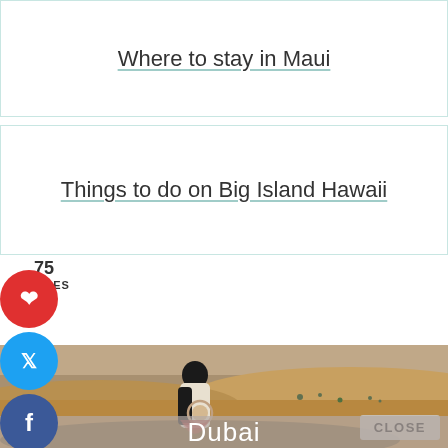Where to stay in Maui
Things to do on Big Island Hawaii
75 SHARES
[Figure (photo): Person seen from behind walking through desert sand dunes, wearing black headscarf and white/red patterned outfit, with sandy dunes and sparse vegetation in background under hazy sky]
CLOSE
Dubai